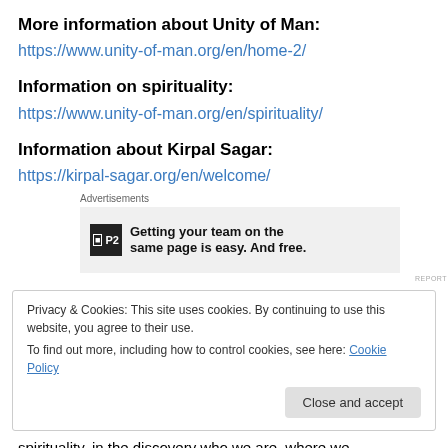More information about Unity of Man:
https://www.unity-of-man.org/en/home-2/
Information on spirituality:
https://www.unity-of-man.org/en/spirituality/
Information about Kirpal Sagar:
https://kirpal-sagar.org/en/welcome/
[Figure (screenshot): Advertisement banner for P2 product: logo with 'P2' text, tagline 'Getting your team on the same page is easy. And free.']
Privacy & Cookies: This site uses cookies. By continuing to use this website, you agree to their use.
To find out more, including how to control cookies, see here: Cookie Policy
spirituality, in the discovery who we are, where we